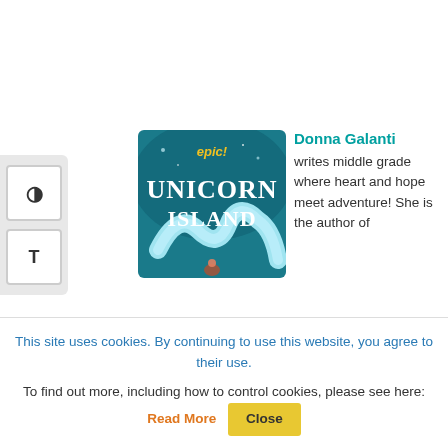[Figure (illustration): Book cover for 'Unicorn Island' published by epic!, showing a unicorn with teal/blue tones, white decorative text, and the word 'epic!' in yellow at the top.]
Donna Galanti writes middle grade where heart and hope meet adventure! She is the author of
This site uses cookies. By continuing to use this website, you agree to their use.
To find out more, including how to control cookies, please see here: Read More
Close